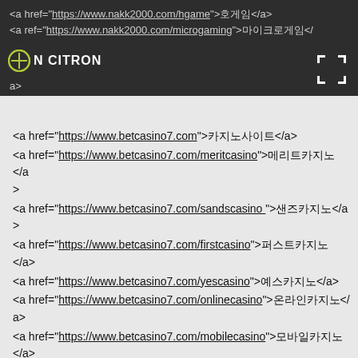<a href="https://www.nakk2000.com/hgame">호게임</a>
<a href="https://www.nakk2000.com/microgaming">마이크로게임</a>
<a href="https://www.betcasino7.com">카지노사이트</a>
<a href="https://www.betcasino7.com/meritcasino">메리트카지노</a>
<a href="https://www.betcasino7.com/sandscasino ">샌즈카지노</a>
<a href="https://www.betcasino7.com/firstcasino">퍼스트카지노</a>
<a href="https://www.betcasino7.com/yescasino">예스카지노</a>
<a href="https://www.betcasino7.com/onlinecasino">온라인카지노</a>
<a href="https://www.betcasino7.com/mobilecasino">모바일카지노</a>
<a href="https://www.betcasino7.com/livecasino">라이브카지노</a>